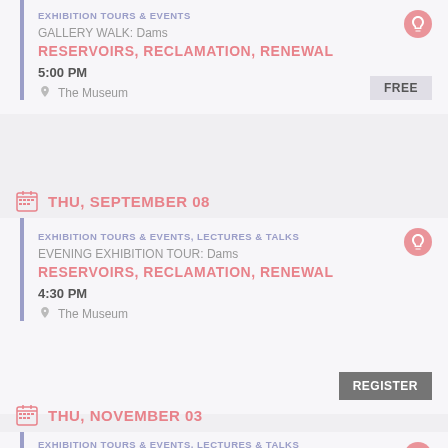EXHIBITION TOURS & EVENTS
GALLERY WALK: Dams
RESERVOIRS, RECLAMATION, RENEWAL
5:00 PM
The Museum
FREE
THU, SEPTEMBER 08
EXHIBITION TOURS & EVENTS, LECTURES & TALKS
EVENING EXHIBITION TOUR: Dams
RESERVOIRS, RECLAMATION, RENEWAL
4:30 PM
The Museum
REGISTER
THU, NOVEMBER 03
EXHIBITION TOURS & EVENTS, LECTURES & TALKS